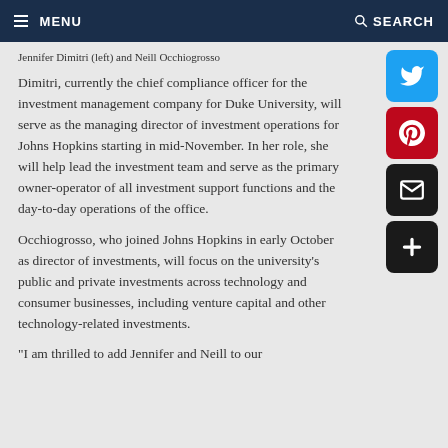MENU   SEARCH
Jennifer Dimitri (left) and Neill Occhiogrosso
Dimitri, currently the chief compliance officer for the investment management company for Duke University, will serve as the managing director of investment operations for Johns Hopkins starting in mid-November. In her role, she will help lead the investment team and serve as the primary owner-operator of all investment support functions and the day-to-day operations of the office.
Occhiogrosso, who joined Johns Hopkins in early October as director of investments, will focus on the university's public and private investments across technology and consumer businesses, including venture capital and other technology-related investments.
"I am thrilled to add Jennifer and Neill to our